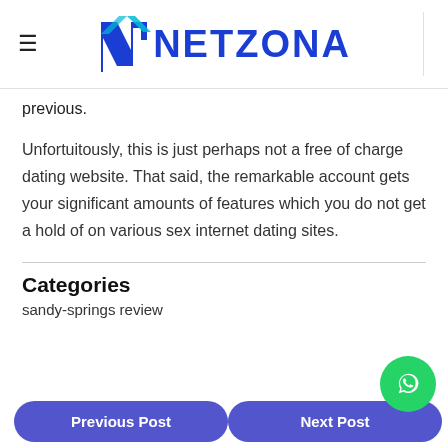NETZONA
previous.
Unfortuitously, this is just perhaps not a free of charge dating website. That said, the remarkable account gets your significant amounts of features which you do not get a hold of on various sex internet dating sites.
Categories
sandy-springs review
Previous Post
Next Post